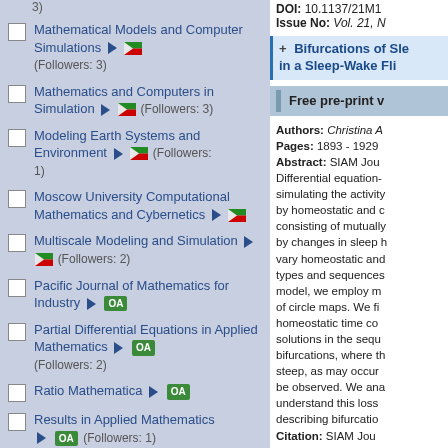Mathematical Models and Computer Simulations (Followers: 3)
Mathematics and Computers in Simulation (Followers: 3)
Modeling Earth Systems and Environment (Followers: 1)
Moscow University Computational Mathematics and Cybernetics
Multiscale Modeling and Simulation (Followers: 2)
Pacific Journal of Mathematics for Industry
Partial Differential Equations in Applied Mathematics (Followers: 2)
Ratio Mathematica
Results in Applied Mathematics (Followers: 1)
Scandinavian Actuarial Journal
DOI: 10.1137/21M1... Issue No: Vol. 21, N...
Bifurcations of Sle... in a Sleep-Wake Fli...
Free pre-print v...
Authors: Christina A... Pages: 1893 - 1929 Abstract: SIAM Jou... Differential equation-... simulating the activity... by homeostatic and c... consisting of mutually... by changes in sleep h... vary homeostatic and... types and sequences... model, we employ m... of circle maps. We fi... homeostatic time co... solutions in the sequ... bifurcations, where th... steep, as may occur... be observed. We ana... understand this loss ... describing bifurcatio... Citation: SIAM Jou... PubDate: 2022-07-2... DOI: 10.1137/21M14... Issue No: Vol. 21, N...